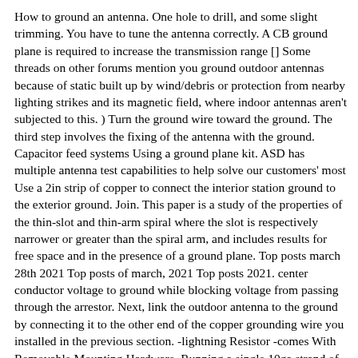How to ground an antenna. One hole to drill, and some slight trimming. You have to tune the antenna correctly. A CB ground plane is required to increase the transmission range [] Some threads on other forums mention you ground outdoor antennas because of static built up by wind/debris or protection from nearby lighting strikes and its magnetic field, where indoor antennas aren't subjected to this. ) Turn the ground wire toward the ground. The third step involves the fixing of the antenna with the ground. Capacitor feed systems Using a ground plane kit. ASD has multiple antenna test capabilities to help solve our customers' most Use a 2in strip of copper to connect the interior station ground to the exterior ground. Join. This paper is a study of the properties of the thin-slot and thin-arm spiral where the slot is respectively narrower or greater than the spiral arm, and includes results for free space and in the presence of a ground plane. Top posts march 28th 2021 Top posts of march, 2021 Top posts 2021. center conductor voltage to ground while blocking voltage from passing through the arrestor. Next, link the outdoor antenna to the ground by connecting it to the other end of the copper grounding wire you installed in the previous section. -lightning Resistor -comes With Removable Mounting Hardware. Running a single 10ga strand of copper wire will evaporate in the same millisecond the lightning hits your antenna. You should see a firm copper wire running from your Step #3: Antenna Attach one end of your grounding wire to